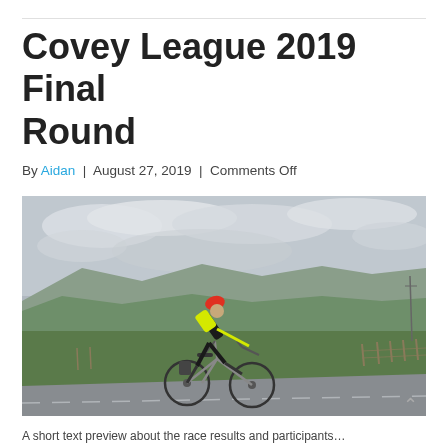Covey League 2019 Final Round
By Aidan  |  August 27, 2019  |  Comments Off
[Figure (photo): A cyclist in a yellow jersey and red helmet riding a road bike on a rural road with green hills and overcast sky in the background.]
A short text preview line at the bottom of the page.